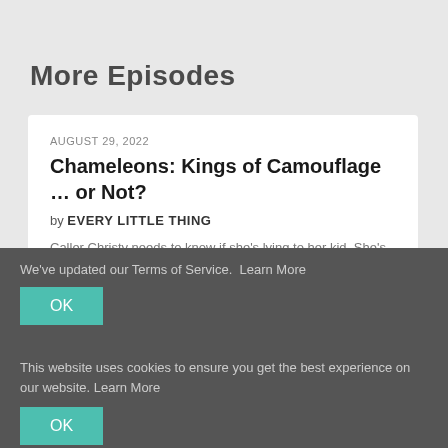More Episodes
AUGUST 29, 2022
Chameleons: Kings of Camouflage … or Not?
by EVERY LITTLE THING
Caller Christy needs to know if she's lying to her kid. She's been
We've updated our Terms of Service. Learn More
OK
This website uses cookies to ensure you get the best experience on our website. Learn More
OK